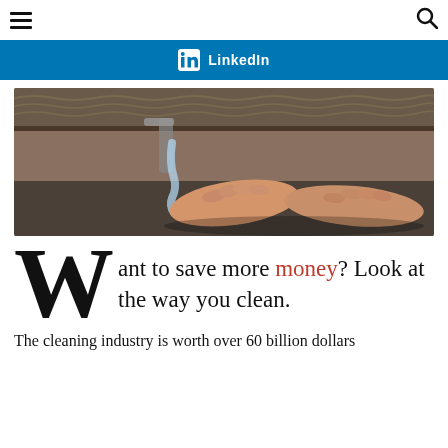≡  [search icon]
[Figure (other): LinkedIn share button — blue background with LinkedIn logo and 'LinkedIn' text]
[Figure (photo): Photograph of a person washing hands at a granite-countertop sink with running water]
Want to save more money? Look at the way you clean.
The cleaning industry is worth over 60 billion dollars